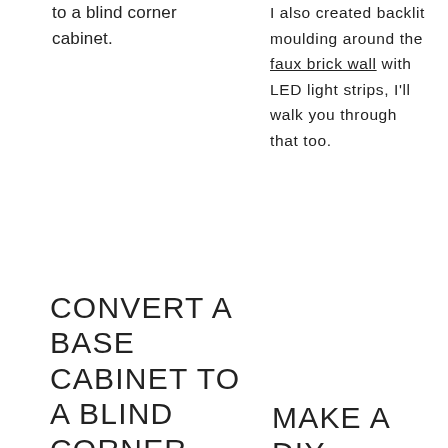to a blind corner cabinet.
I also created backlit moulding around the faux brick wall with LED light strips, I'll walk you through that too.
CONVERT A BASE CABINET TO A BLIND CORNER
MAKE A DIY